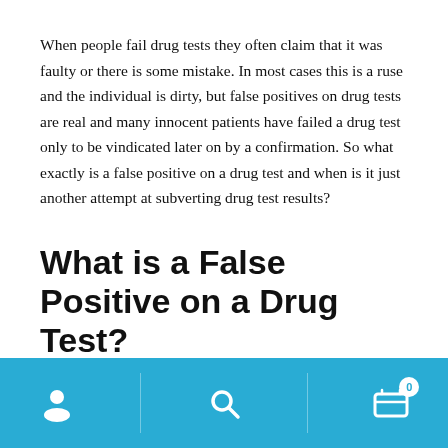When people fail drug tests they often claim that it was faulty or there is some mistake. In most cases this is a ruse and the individual is dirty, but false positives on drug tests are real and many innocent patients have failed a drug test only to be vindicated later on by a confirmation. So what exactly is a false positive on a drug test and when is it just another attempt at subverting drug test results?
What is a False Positive on a Drug Test?
A false positive is a drug test result that is not accurate due to another substance mimicking the target metabolite.
The majority of false positives are caused by medications, foods